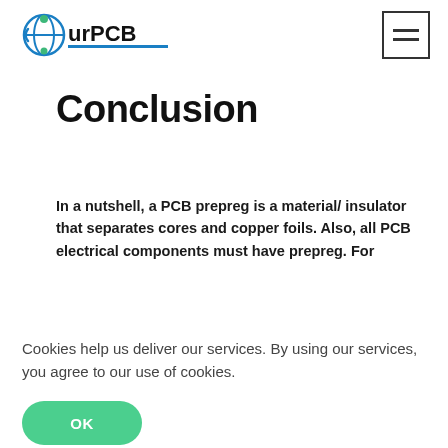[Figure (logo): OurPCB logo with globe/circuit icon in blue and green, company name in black bold text with blue underline]
[Figure (other): Hamburger menu icon — three horizontal lines inside a square border]
Conclusion
In a nutshell, a PCB prepreg is a material/ insulator that separates cores and copper foils. Also, all PCB electrical components must have prepreg. For
Cookies help us deliver our services. By using our services, you agree to our use of cookies.
OK
MORE